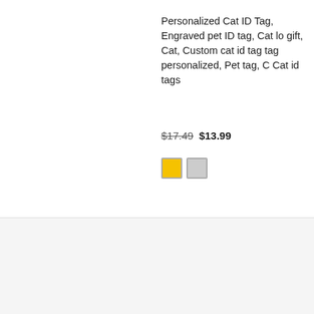Personalized Cat ID Tag, Engraved pet ID tag, Cat lo gift, Cat, Custom cat id tag tag personalized, Pet tag, C Cat id tags
$17.49  $13.99
[Figure (other): Two color swatches: yellow and gray squares]